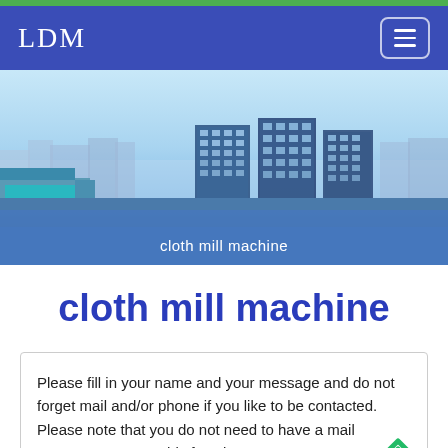LDM
[Figure (photo): Aerial view of industrial buildings and city skyline under blue sky]
cloth mill machine
cloth mill machine
Please fill in your name and your message and do not forget mail and/or phone if you like to be contacted. Please note that you do not need to have a mail programme to use this function.